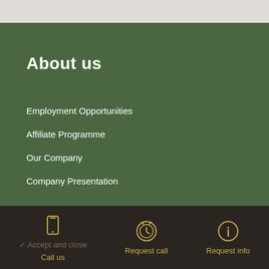About us
Employment Opportunities
Affiliate Programme
Our Company
Company Presentation
This website uses cookies to ensure you get the best experience on our website. View privacy policy
Call us | Request call | Request info